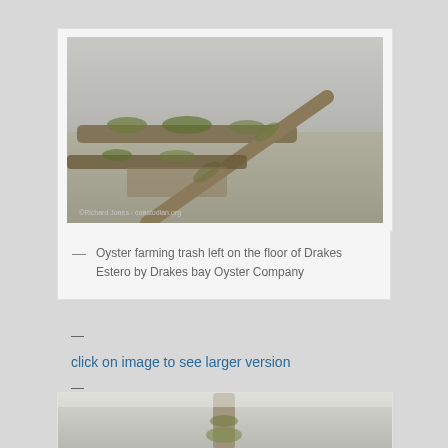[Figure (photo): Underwater photo showing wooden logs/sticks with green algae growth on sandy floor of Drakes Estero — oyster farming debris. Watermark: ©Richard Jones - coastodian.org]
— Oyster farming trash left on the floor of Drakes Estero by Drakes bay Oyster Company
—
click on image to see larger version
—
[Figure (photo): Partial view of a second underwater photo (cropped at bottom of page)]